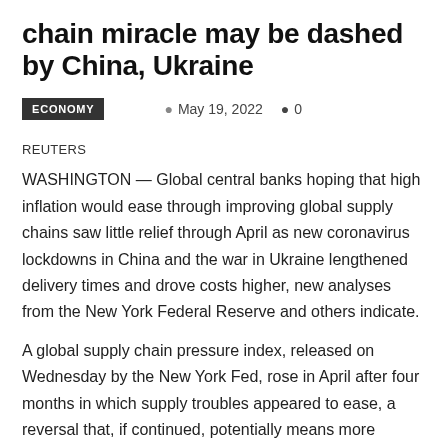Central banks' hopes for supply chain miracle may be dashed by China, Ukraine
ECONOMY   May 19, 2022   0
REUTERS
WASHINGTON — Global central banks hoping that high inflation would ease through improving global supply chains saw little relief through April as new coronavirus lockdowns in China and the war in Ukraine lengthened delivery times and drove costs higher, new analyses from the New York Federal Reserve and others indicate.
A global supply chain pressure index, released on Wednesday by the New York Fed, rose in April after four months in which supply troubles appeared to ease, a reversal that, if continued, potentially means more persistent inflation even as central banks move to